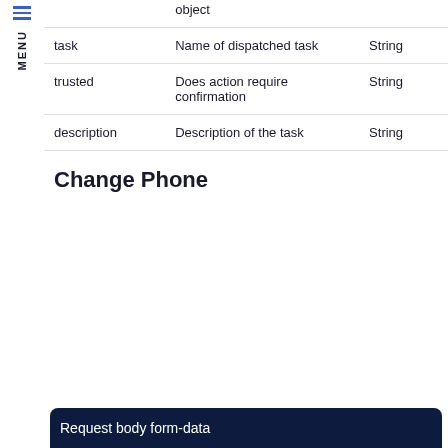|  |  |  |
| --- | --- | --- |
|  | object |  |
| task | Name of dispatched task | String |
| trusted | Does action require confirmation | String |
| description | Description of the task | String |
Change Phone
Request body form-data